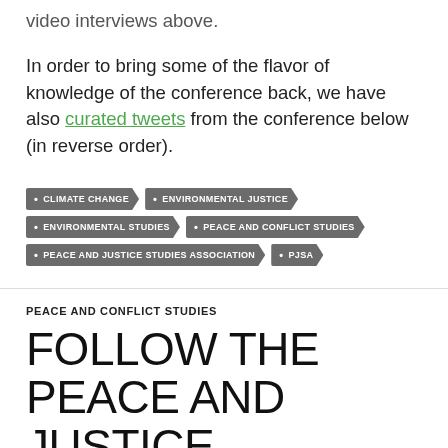video interviews above.
In order to bring some of the flavor of knowledge of the conference back, we have also curated tweets from the conference below (in reverse order).
CLIMATE CHANGE
ENVIRONMENTAL JUSTICE
ENVIRONMENTAL STUDIES
PEACE AND CONFLICT STUDIES
PEACE AND JUSTICE STUDIES ASSOCIATION
PJSA
PEACE AND CONFLICT STUDIES
FOLLOW THE PEACE AND JUSTICE STUDIES ASSOCIATION